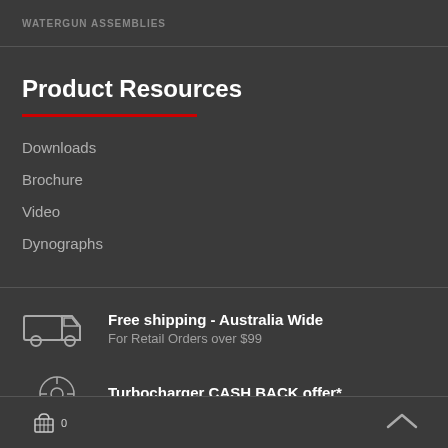WATERGUN ASSEMBLIES
Product Resources
Downloads
Brochure
Video
Dynographs
Free shipping - Australia Wide
For Retail Orders over $99
Turbocharger CASH BACK offer*